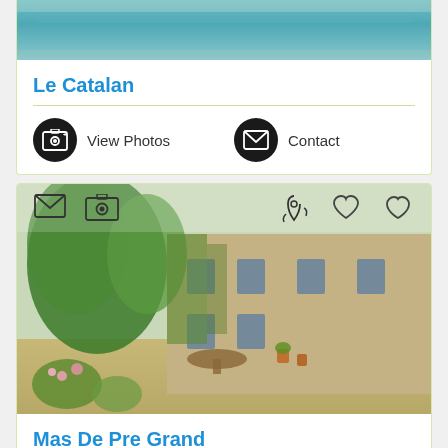[Figure (photo): Top portion of a property photo showing a teal/turquoise roof or covered area]
Le Catalan
[Figure (other): View Photos button with camera icon in black circle]
[Figure (other): Contact button with envelope icon in black circle]
[Figure (photo): Exterior photo of Mas De Pre Grand property showing stone farmhouse covered in ivy and green plants with garden courtyard]
Mas De Pre Grand